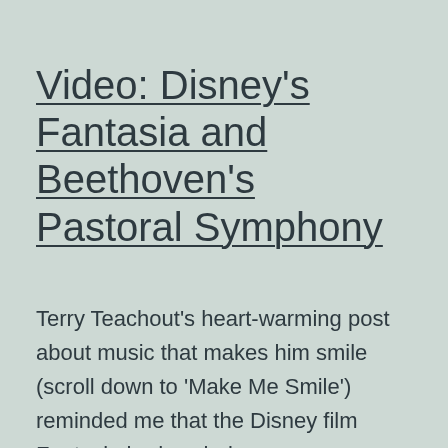Video: Disney's Fantasia and Beethoven's Pastoral Symphony
Terry Teachout's heart-warming post about music that makes him smile (scroll down to 'Make Me Smile') reminded me that the Disney film Fantasia had a whole sequence devoted to Beethoven's Symphony No. 6, the Pastoral Symphony. I couldn't remember that much